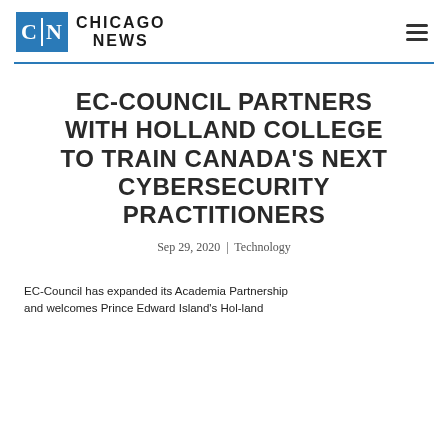CHICAGO NEWS
EC-COUNCIL PARTNERS WITH HOLLAND COLLEGE TO TRAIN CANADA'S NEXT CYBERSECURITY PRACTITIONERS
Sep 29, 2020 | Technology
EC-Council has expanded its Academia Partnership and welcomes Prince Edward Island's Hol-land